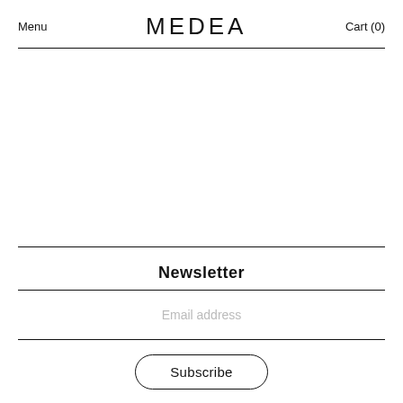Menu   MEDEA   Cart (0)
Newsletter
Email address
Subscribe